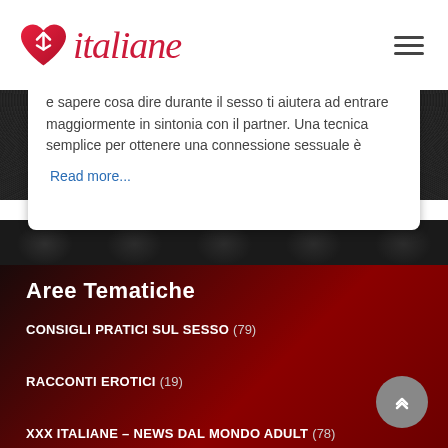[Figure (logo): Italiane website logo with red heart/arrow icon and italic red text 'italiane']
e sapere cosa dire durante il sesso ti aiutera ad entrare maggiormente in sintonia con il partner. Una tecnica semplice per ottenere una connessione sessuale è
Read more...
Aree Tematiche
CONSIGLI PRATICI SUL SESSO (79)
RACCONTI EROTICI (19)
XXX ITALIANE – NEWS DAL MONDO ADULT (78)